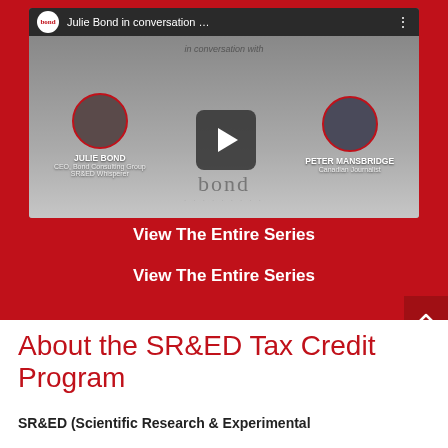[Figure (screenshot): YouTube-style video thumbnail showing Julie Bond in conversation with Peter Mansbridge. Top bar shows bond logo and title 'Julie Bond in conversation...'. Video content shows two circular profile photos of JULIE BOND (CEO, Bond Consulting Group, SR&ED Whisperer) and PETER MANSBRIDGE (Canadian Journalist) with a play button in the center and 'in conversation with' text above. Bond logo shown at bottom of video frame.]
View The Entire Series
View The Entire Series
About the SR&ED Tax Credit Program
SR&ED (Scientific Research & Experimental